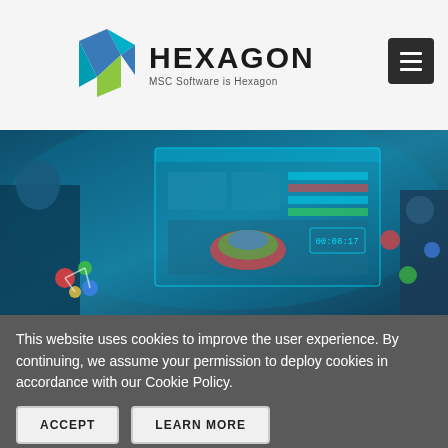[Figure (logo): Hexagon logo with geometric diamond/arrow shapes in teal and green, with HEXAGON text and tagline MSC Software is Hexagon]
[Figure (photo): Technology hero image with blue tinted background showing a person interacting with holographic digital UI screens, 3D models, robotic arm, and engineering simulation software interfaces]
This website uses cookies to improve the user experience. By continuing, we assume your permission to deploy cookies in accordance with our Cookie Policy.
ACCEPT
LEARN MORE